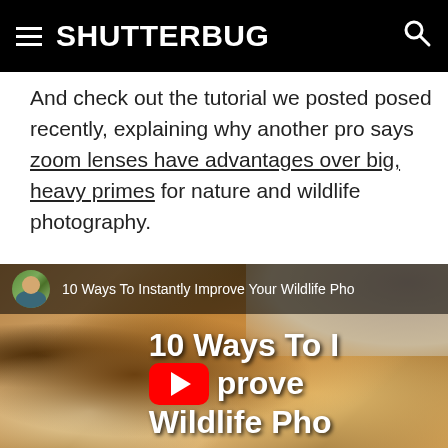≡ SHUTTERBUG 🔍
And check out the tutorial we posted posed recently, explaining why another pro says zoom lenses have advantages over big, heavy primes for nature and wildlife photography.
[Figure (screenshot): YouTube video thumbnail showing a lion cub closeup with title overlay '10 Ways To Instantly Improve Your Wildlife Pho...' and a YouTube play button. The video top bar shows a circular avatar of a man and the video title text.]